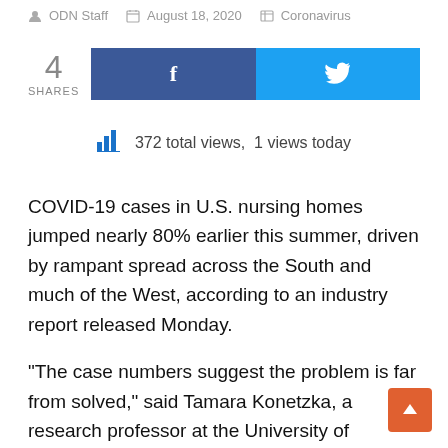ODN Staff   August 18, 2020   Coronavirus
4 SHARES
372 total views,  1 views today
COVID-19 cases in U.S. nursing homes jumped nearly 80% earlier this summer, driven by rampant spread across the South and much of the West, according to an industry report released Monday.
“The case numbers suggest the problem is far from solved,” said Tamara Konetzka, a research professor at the University of Chicago, who